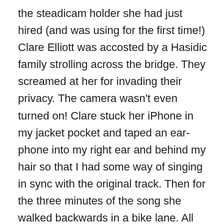the steadicam holder she had just hired (and was using for the first time!) Clare Elliott was accosted by a Hasidic family strolling across the bridge. They screamed at her for invading their privacy. The camera wasn't even turned on! Clare stuck her iPhone in my jacket pocket and taped an ear-phone into my right ear and behind my hair so that I had some way of singing in sync with the original track. Then for the three minutes of the song she walked backwards in a bike lane. All this in the wind using a device she had only just hired for the first time. (The Frenchman who rented us the steadicam in the morning insisted Clare would need three days practice to be ready to use it at all.)
The plan was always to use one take and have zero cuts. We shot the song about five times before the wind became impossible. Over all, this is by far the best version. In a